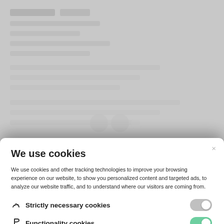[Figure (screenshot): Blurred/obscured background website content above the cookie modal]
We use cookies
We use cookies and other tracking technologies to improve your browsing experience on our website, to show you personalized content and targeted ads, to analyze our website traffic, and to understand where our visitors are coming from.
Strictly necessary cookies
Functionality cookies
Tracking cookies
Privacy Policy
Accept selected cookies